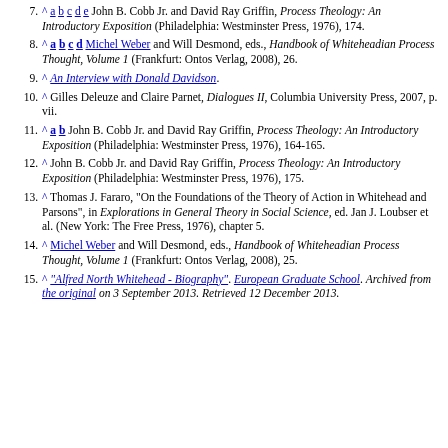7. ^ a b c d e John B. Cobb Jr. and David Ray Griffin, Process Theology: An Introductory Exposition (Philadelphia: Westminster Press, 1976), 174.
8. ^ a b c d Michel Weber and Will Desmond, eds., Handbook of Whiteheadian Process Thought, Volume 1 (Frankfurt: Ontos Verlag, 2008), 26.
9. ^ An Interview with Donald Davidson.
10. ^ Gilles Deleuze and Claire Parnet, Dialogues II, Columbia University Press, 2007, p. vii.
11. ^ a b John B. Cobb Jr. and David Ray Griffin, Process Theology: An Introductory Exposition (Philadelphia: Westminster Press, 1976), 164-165.
12. ^ John B. Cobb Jr. and David Ray Griffin, Process Theology: An Introductory Exposition (Philadelphia: Westminster Press, 1976), 175.
13. ^ Thomas J. Fararo, "On the Foundations of the Theory of Action in Whitehead and Parsons", in Explorations in General Theory in Social Science, ed. Jan J. Loubser et al. (New York: The Free Press, 1976), chapter 5.
14. ^ Michel Weber and Will Desmond, eds., Handbook of Whiteheadian Process Thought, Volume 1 (Frankfurt: Ontos Verlag, 2008), 25.
15. ^ "Alfred North Whitehead - Biography". European Graduate School. Archived from the original on 3 September 2013. Retrieved 12 December 2013.